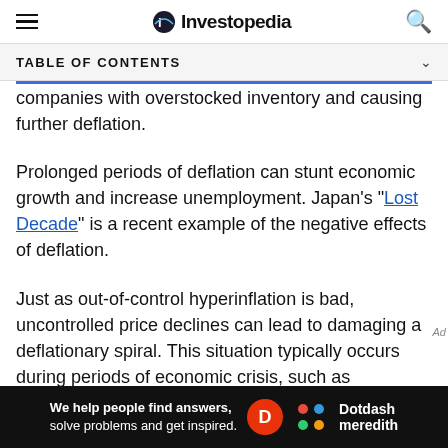Investopedia
TABLE OF CONTENTS
companies with overstocked inventory and causing further deflation.
Prolonged periods of deflation can stunt economic growth and increase unemployment. Japan's "Lost Decade" is a recent example of the negative effects of deflation.
Just as out-of-control hyperinflation is bad, uncontrolled price declines can lead to damaging a deflationary spiral. This situation typically occurs during periods of economic crisis, such as
[Figure (other): Dotdash Meredith advertisement banner: 'We help people find answers, solve problems and get inspired.']